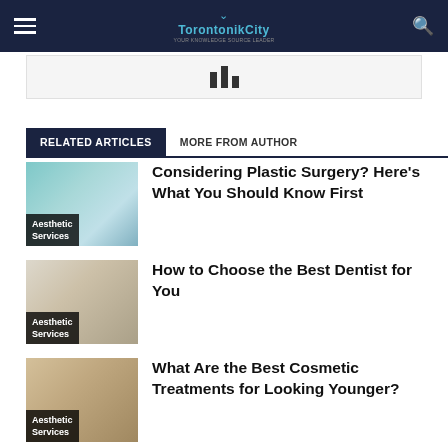TorontonikCity
[Figure (other): Gray box with bar chart icon]
RELATED ARTICLES | MORE FROM AUTHOR
[Figure (photo): Person in surgical cap - Aesthetic Services]
Considering Plastic Surgery? Here's What You Should Know First
[Figure (photo): Dental/medical equipment - Aesthetic Services]
How to Choose the Best Dentist for You
[Figure (photo): Woman with blonde hair - Aesthetic Services]
What Are the Best Cosmetic Treatments for Looking Younger?